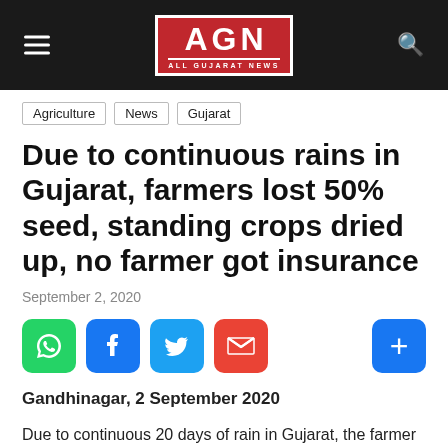AGN ALL GUJARAT NEWS
Agriculture
News
Gujarat
Due to continuous rains in Gujarat, farmers lost 50% seed, standing crops dried up, no farmer got insurance
September 2, 2020
Gandhinagar, 2 September 2020
Due to continuous 20 days of rain in Gujarat, the farmer fields have suffered heavy damage. 5 lakh quintal seeds were sown